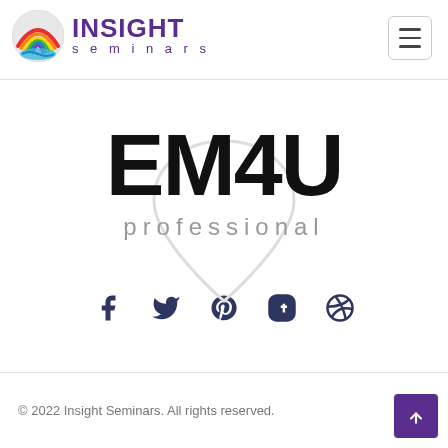[Figure (logo): Insight Seminars logo with colorful globe icon and purple text reading INSIGHT seminars]
[Figure (screenshot): Hamburger menu button (three horizontal lines) in a rounded rectangle border]
EM4U
professional
[Figure (illustration): Social media icons: Facebook, Twitter, Pinterest, Tumblr, Dribbble in dark navy color]
© 2022 Insight Seminars. All rights reserved.